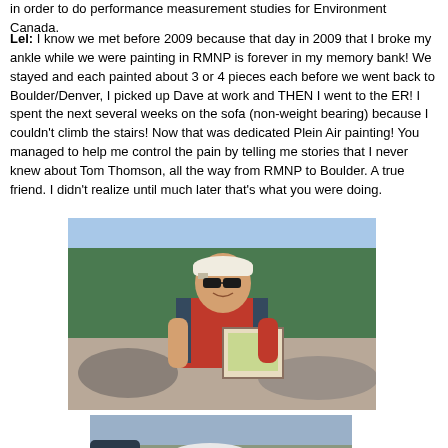in order to do performance measurement studies for Environment Canada.
Lel: I know we met before 2009 because that day in 2009 that I broke my ankle while we were painting in RMNP is forever in my memory bank! We stayed and each painted about 3 or 4 pieces each before we went back to Boulder/Denver, I picked up Dave at work and THEN I went to the ER! I spent the next several weeks on the sofa (non-weight bearing) because I couldn't climb the stairs! Now that was dedicated Plein Air painting! You managed to help me control the pain by telling me stories that I never knew about Tom Thomson, all the way from RMNP to Boulder. A true friend. I didn't realize until much later that's what you were doing.
[Figure (photo): A man wearing a white baseball cap, sunglasses, and a red shirt under a dark vest, smiling and holding a painting outdoors with trees and rocks in the background.]
[Figure (photo): Partial view of another outdoor scene, cropped at bottom of page.]